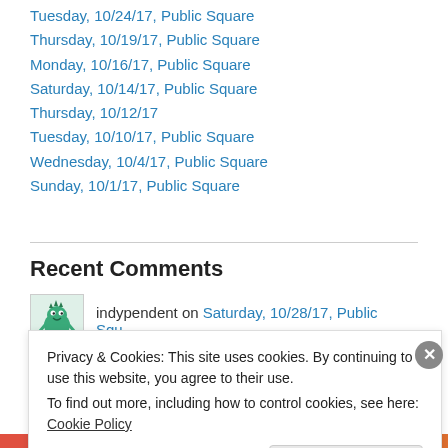Tuesday, 10/24/17, Public Square
Thursday, 10/19/17, Public Square
Monday, 10/16/17, Public Square
Saturday, 10/14/17, Public Square
Thursday, 10/12/17
Tuesday, 10/10/17, Public Square
Wednesday, 10/4/17, Public Square
Sunday, 10/1/17, Public Square
Recent Comments
indypendent on Saturday, 10/28/17, Public Squ...
Privacy & Cookies: This site uses cookies. By continuing to use this website, you agree to their use.
To find out more, including how to control cookies, see here: Cookie Policy
Close and accept